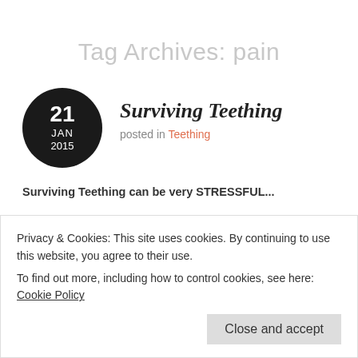Tag Archives: pain
[Figure (other): Black circle with date: 21 JAN 2015]
Surviving Teething
posted in Teething
Surviving Teething can be very STRESSFUL...
You never want to see your baby in pain. So I've created a little survival kit that seems to work for me. Remember every baby is
Privacy & Cookies: This site uses cookies. By continuing to use this website, you agree to their use.
To find out more, including how to control cookies, see here: Cookie Policy